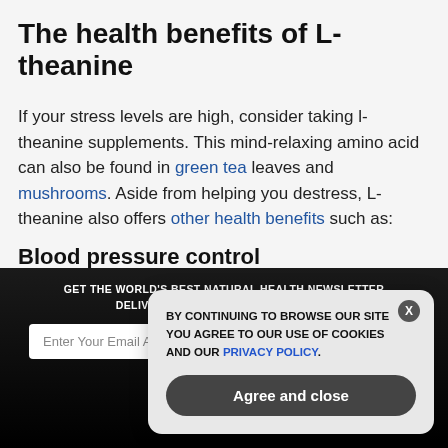The health benefits of L-theanine
If your stress levels are high, consider taking l-theanine supplements. This mind-relaxing amino acid can also be found in green tea leaves and mushrooms. Aside from helping you destress, L-theanine also offers other health benefits such as:
Blood pressure control
[Figure (screenshot): Dark newsletter signup banner with email input and SUBSCRIBE button, overlaid by a cookie consent popup with 'BY CONTINUING TO BROWSE OUR SITE YOU AGREE TO OUR USE OF COOKIES AND OUR PRIVACY POLICY.' and an 'Agree and close' button.]